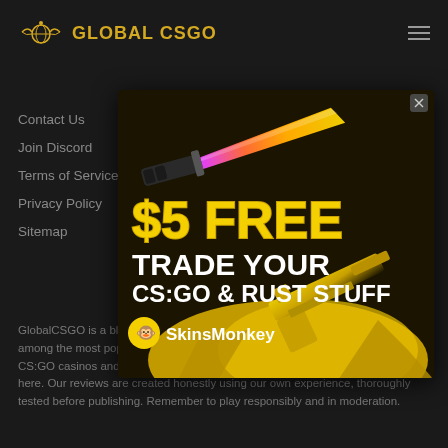GLOBAL CSGO
Contact Us
Join Discord
Terms of Service
Privacy Policy
Sitemap
Twitter
Discord
Facebook
Steam
[Figure (illustration): SkinsMonkey advertisement banner showing a rainbow knife and yellow AK-47, with text '$5 FREE TRADE YOUR CS:GO & RUST STUFF' and SkinsMonkey branding]
GlobalCSGO is a blog website about Counter Strike: Global Offensive, which is among the most popular FPS games. We are a reputable review site for online CS:GO casinos and trading. We are not controlled by any of the sites described here. Our reviews are created honestly using our own experience, thoroughly tested before publishing. Remember to play responsibly and in moderation.